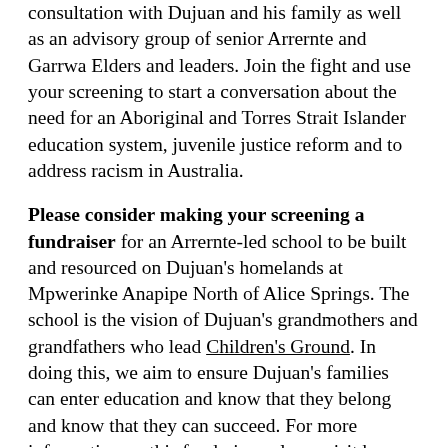consultation with Dujuan and his family as well as an advisory group of senior Arrernte and Garrwa Elders and leaders. Join the fight and use your screening to start a conversation about the need for an Aboriginal and Torres Strait Islander education system, juvenile justice reform and to address racism in Australia.
Please consider making your screening a fundraiser for an Arrernte-led school to be built and resourced on Dujuan's homelands at Mpwerinke Anapipe North of Alice Springs. The school is the vision of Dujuan's grandmothers and grandfathers who lead Children's Ground. In doing this, we aim to ensure Dujuan's families can enter education and know that they belong and know that they can succeed. For more information on this fundraiser, please visit here.
Available for screenings in Australia and NZ. Other countries coming soon.